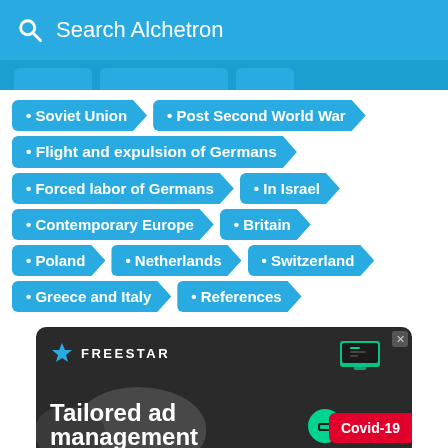Search Alchetron
Soviet Union
Post Second World War
Flight and expulsion of Germans
Forced labor of Germans
In Israel
Contemporary Europe
Britain
Poland
Netherlands
Switzerland
Greece and Italy
References
[Figure (screenshot): Freestar advertisement banner with text 'Tailored ad management' and a Covid-19 badge]